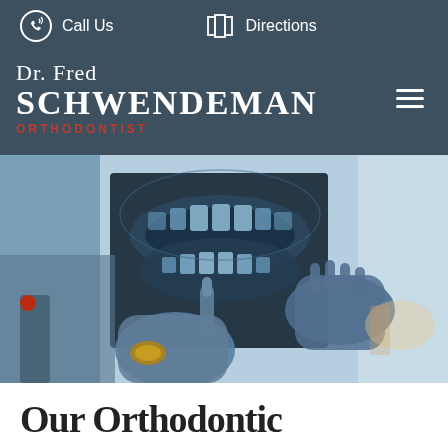Call Us | Directions
Dr. Fred SCHWENDEMAN ORTHODONTIST
[Figure (photo): A dental professional wearing blue gloves holds up a panoramic dental X-ray, pointing at it with one finger against a blurred clinic background.]
Our Orthodontic